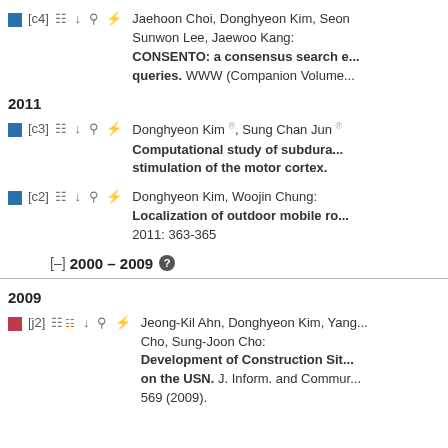[c4] Jaehoon Choi, Donghyeon Kim, Seon... Sunwon Lee, Jaewoo Kang: CONSENTO: a consensus search e... queries. WWW (Companion Volume...
2011
[c3] Donghyeon Kim, Sung Chan Jun: Computational study of subdura... stimulation of the motor cortex.
[c2] Donghyeon Kim, Woojin Chung: Localization of outdoor mobile ro... 2011: 363-365
[–] 2000 – 2009
2009
[j2] Jeong-Kil Ahn, Donghyeon Kim, Yang... Cho, Sung-Joon Cho: Development of Construction Sit... on the USN. J. Inform. and Commur... 569 (2009).